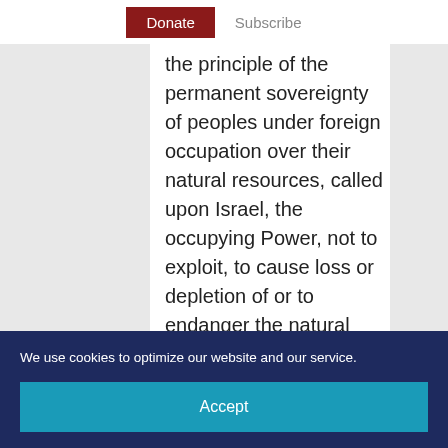Donate  Subscribe
the principle of the permanent sovereignty of peoples under foreign occupation over their natural resources, called upon Israel, the occupying Power, not to exploit, to cause loss or depletion of or to endanger the natural resources in the Occupied Palestinian Territory, including Jerusalem, and in the occupied Syrian Golan.
“The twenty-eighth session of the
We use cookies to optimize our website and our service.
Accept